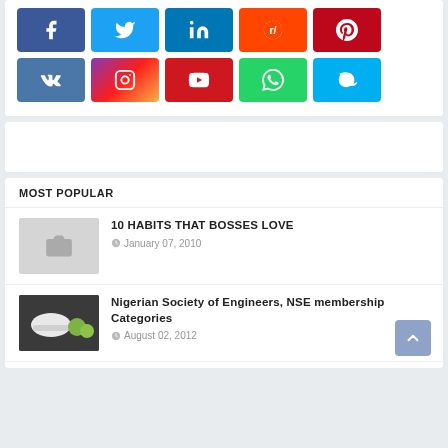[Figure (other): Social media share buttons grid: Facebook, Twitter, LinkedIn, Reddit, Pinterest (row 1); VK, Instagram, YouTube, WhatsApp, Skype (row 2)]
[Figure (other): Advertisement placeholder box (white rectangle)]
MOST POPULAR
[Figure (photo): Placeholder camera icon thumbnail for '10 HABITS THAT BOSSES LOVE']
10 HABITS THAT BOSSES LOVE
January 07, 2010
[Figure (photo): Photo of a white hard hat and green fruits for 'Nigerian Society of Engineers, NSE membership Categories']
Nigerian Society of Engineers, NSE membership Categories
August 02, 2012